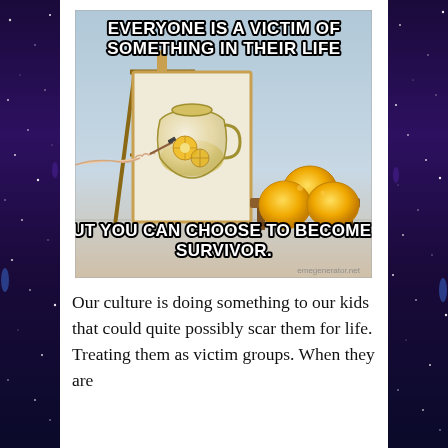[Figure (illustration): A meme image showing an artist painting a lemonade pitcher on a canvas (easel), with real lemons sitting on a stool next to it. Text overlay reads: 'EVERYONE IS A VICTIM OF SOMETHING IN THEIR LIFE' at the top, and 'BUT YOU CAN CHOOSE TO BECOME A SURVIVOR.' at the bottom. Watermark: emegenerator.net]
Our culture is doing something to our kids that could quite possibly scar them for life. Treating them as victim groups. When they are